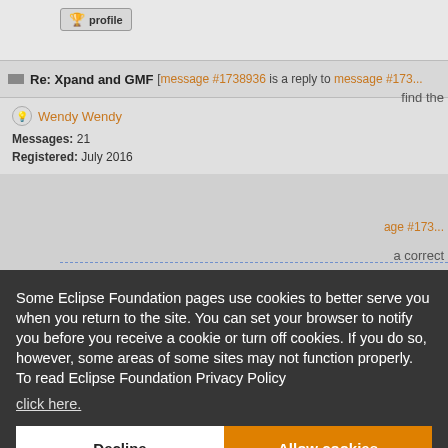[Figure (screenshot): Eclipse Foundation forum page showing a reply message titled 'Re: Xpand and GMF' with user profile info for Wendy Wendy (Messages: 21, Registered: July 2016), partially obscured by a cookie consent overlay. A code snippet is visible at the bottom: Map<String, String> properties = new Hash]
Some Eclipse Foundation pages use cookies to better serve you when you return to the site. You can set your browser to notify you before you receive a cookie or turn off cookies. If you do so, however, some areas of some sites may not function properly. To read Eclipse Foundation Privacy Policy click here.
Decline
Allow cookies